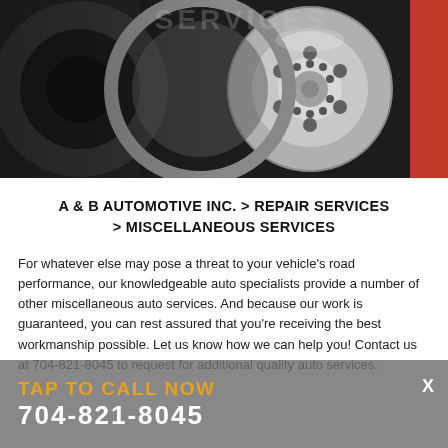[Figure (photo): Close-up photo of automotive brake disc/rotor and wheel hub components, dark and silver metallic tones, with a red element at the right edge. Faint 'SERVICES' text watermark overlaid on upper portion.]
A & B AUTOMOTIVE INC. > REPAIR SERVICES > MISCELLANEOUS SERVICES
For whatever else may pose a threat to your vehicle's road performance, our knowledgeable auto specialists provide a number of other miscellaneous auto services. And because our work is guaranteed, you can rest assured that you're receiving the best workmanship possible. Let us know how we can help you! Contact us at 704-821-8045 to request for additional quality auto services.
TAP TO CALL NOW
704-821-8045